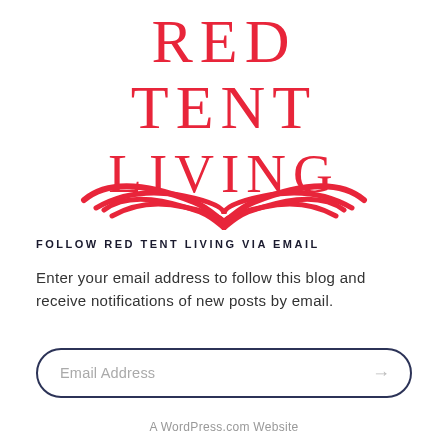[Figure (logo): Red Tent Living logo with serif text in red reading RED TENT LIVING with a decorative red double-curved ornament beneath]
FOLLOW RED TENT LIVING VIA EMAIL
Enter your email address to follow this blog and receive notifications of new posts by email.
Email Address
A WordPress.com Website